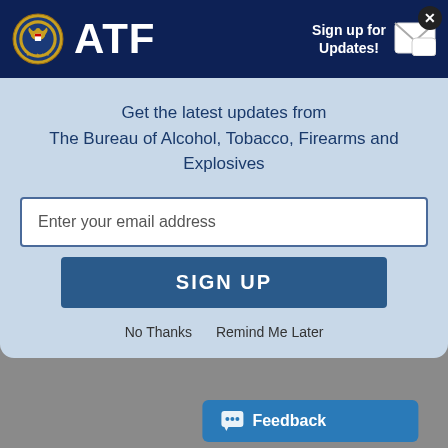[Figure (logo): ATF (Bureau of Alcohol, Tobacco, Firearms and Explosives) header with seal logo, ATF text, and Sign up for Updates button with mail icon and close button]
Get the latest updates from
The Bureau of Alcohol, Tobacco, Firearms and Explosives
Enter your email address
SIGN UP
No Thanks   Remind Me Later
|  | Alternate Identification Markings; Black Powder Lifters; More on Hoods; Underground Storage Reminder; Explosives Disposal; ATF and the Interagency Committee on Explosives; ATF Hosts ORA Workshop; ... Answers; L... | Explosives | Newslett... |
| --- | --- | --- | --- |
| Explosives Industry Newsletter-January 2014 (2373 KB) | Alternate Identification Markings; Black Powder Lifters; More on Hoods; Underground Storage Reminder; Explosives Disposal; ATF and the Interagency Committee on Explosives; ATF Hosts ORA Workshop; Answers; L... | Explosives | Newslett... |
Feedback